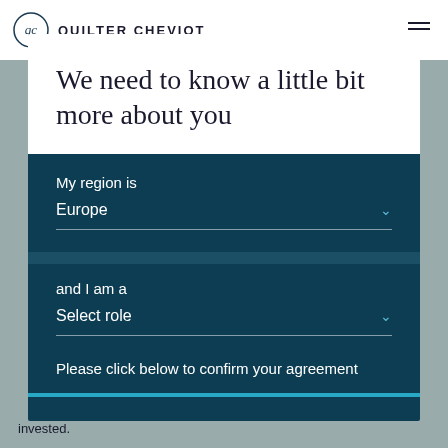[Figure (logo): Quilter Cheviot logo with circular QC monogram and brand name text]
We need to know a little bit more about you
My region is
Europe
and I am a
Select role
Please click below to confirm your agreement
invested.